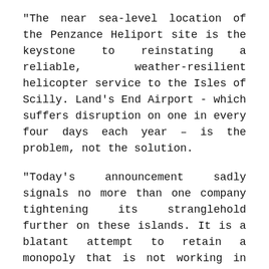"The near sea-level location of the Penzance Heliport site is the keystone to reinstating a reliable, weather-resilient helicopter service to the Isles of Scilly. Land’s End Airport - which suffers disruption on one in every four days each year – is the problem, not the solution.
"Today’s announcement sadly signals no more than one company tightening its stranglehold further on these islands. It is a blatant attempt to retain a monopoly that is not working in the interests of these islands.
"The public reaction to today’s announcement has shown that people want genuine choice and real